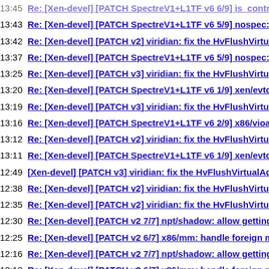13:45 Re: [Xen-devel] [PATCH SpectreV1+L1TF v6 6/9] is_control_domain: blo
13:43 Re: [Xen-devel] [PATCH SpectreV1+L1TF v6 5/9] nospec: introduce eval
13:42 Re: [Xen-devel] [PATCH v2] viridian: fix the HvFlushVirtualAddress/List
13:37 Re: [Xen-devel] [PATCH SpectreV1+L1TF v6 5/9] nospec: introduce eval
13:25 Re: [Xen-devel] [PATCH v3] viridian: fix the HvFlushVirtualAddress/List
13:20 Re: [Xen-devel] [PATCH SpectreV1+L1TF v6 1/9] xen/evtchn: block spec
13:19 Re: [Xen-devel] [PATCH v3] viridian: fix the HvFlushVirtualAddress/List
13:16 Re: [Xen-devel] [PATCH SpectreV1+L1TF v6 2/9] x86/vioapic: block spec
13:12 Re: [Xen-devel] [PATCH v2] viridian: fix the HvFlushVirtualAddress/List
13:11 Re: [Xen-devel] [PATCH SpectreV1+L1TF v6 1/9] xen/evtchn: block spec
12:49 [Xen-devel] [PATCH v3] viridian: fix the HvFlushVirtualAddress/List hype
12:38 Re: [Xen-devel] [PATCH v2] viridian: fix the HvFlushVirtualAddress/List
12:35 Re: [Xen-devel] [PATCH v2] viridian: fix the HvFlushVirtualAddress/List
12:30 Re: [Xen-devel] [PATCH v2 7/7] npt/shadow: allow getting foreign page t
12:25 Re: [Xen-devel] [PATCH v2 6/7] x86/mm: handle foreign mappings in p2m
12:16 Re: [Xen-devel] [PATCH v2 7/7] npt/shadow: allow getting foreign page t
12:12 Re: [Xen-devel] [PATCH v2 6/7] x86/mm: handle foreign mappings in p2m
12:10 [Xen-devel] [PATCH v2] viridian: fix the HvFlushVirtualAddress/List hype
12:09 Re: [Xen-devel] [PATCH v2] x86/pv: Fix construction of 32bit dom0's
12:02 Re: [Xen-devel] [PATCH v2] x86/pv: Fix construction of 32bit dom0's
12:01 Re: [Xen-devel] [PATCH v2] x86/pv: Fix construction of 32bit dom0's